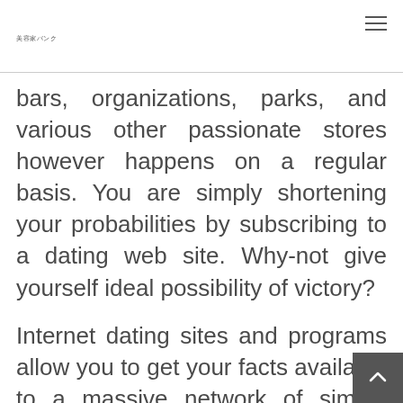美容家バンク
bars, organizations, parks, and various other passionate stores however happens on a regular basis. You are simply shortening your probabilities by subscribing to a dating web site. Why-not give yourself ideal possibility of victory?
Internet dating sites and programs allow you to get your facts available to a massive network of similar people. Plus, you can save lots of time, stamina, and funds by trying out a potential commitm